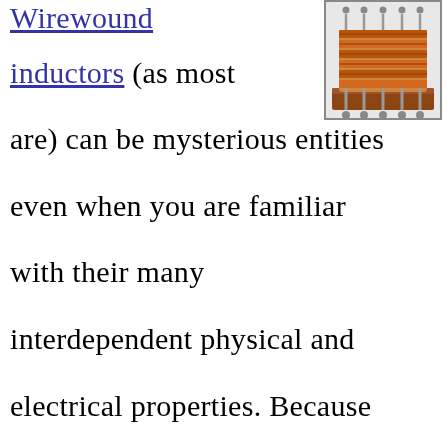[Figure (photo): Photo of a wirewound inductor component showing orange/copper wire wound around a core on a base, with metal terminals.]
Wirewound inductors (as most are) can be mysterious entities even when you are familiar with their many interdependent physical and electrical properties. Because of interwinding capacitance and a sometimes (when a large